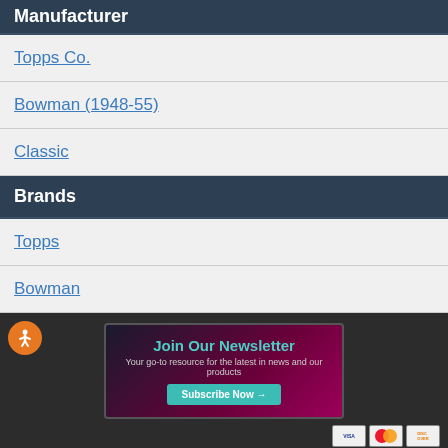Manufacturer
Topps Co.
Bowman (1948-55)
Classic
Brands
Topps
Bowman
[Figure (infographic): Newsletter signup banner with teal and purple gradient background. Title: 'Join Our Newsletter', subtitle: 'Your go-to resource for the latest in news and our products', and a teal 'Subscribe Now →' button.]
We use cookies to help personalize content, tailor and measure ads, and provide a safer experience. By navigating the site, you agree to the use of cookies to collect information about your visits on our
Get Beckett on your mobile device.
Install App